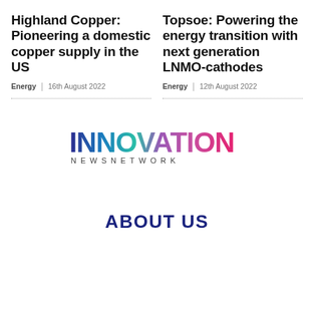Highland Copper: Pioneering a domestic copper supply in the US
Energy | 16th August 2022
Topsoe: Powering the energy transition with next generation LNMO-cathodes
Energy | 12th August 2022
[Figure (logo): Innovation News Network logo with gradient text]
ABOUT US